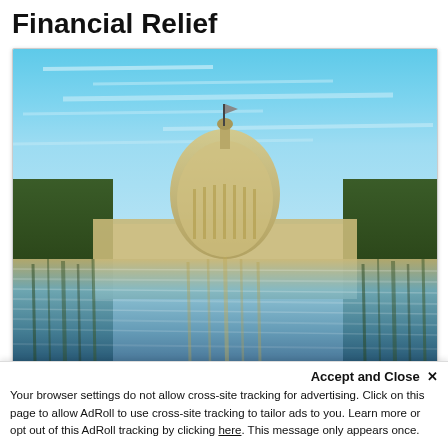Financial Relief
[Figure (photo): Water reflection photograph of the US Capitol building dome against a blue sky, with trees on either side, creating a rippled/distorted mirror reflection effect]
Today's Wisdom: The government responded swiftly
Accept and Close ✕
Your browser settings do not allow cross-site tracking for advertising. Click on this page to allow AdRoll to use cross-site tracking to tailor ads to you. Learn more or opt out of this AdRoll tracking by clicking here. This message only appears once.